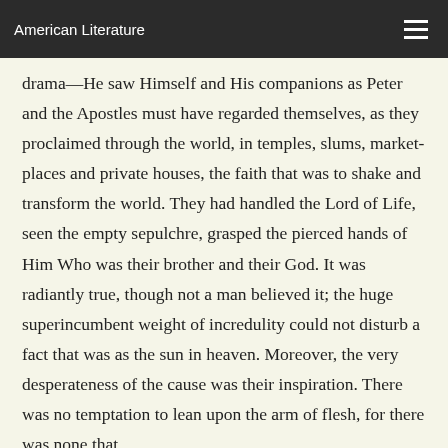American Literature
drama—He saw Himself and His companions as Peter and the Apostles must have regarded themselves, as they proclaimed through the world, in temples, slums, market-places and private houses, the faith that was to shake and transform the world. They had handled the Lord of Life, seen the empty sepulchre, grasped the pierced hands of Him Who was their brother and their God. It was radiantly true, though not a man believed it; the huge superincumbent weight of incredulity could not disturb a fact that was as the sun in heaven. Moreover, the very desperateness of the cause was their inspiration. There was no temptation to lean upon the arm of flesh, for there was none that